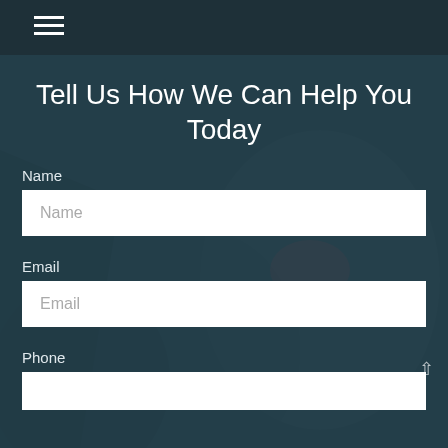☰
Tell Us How We Can Help You Today
Name
Name
Email
Email
Phone